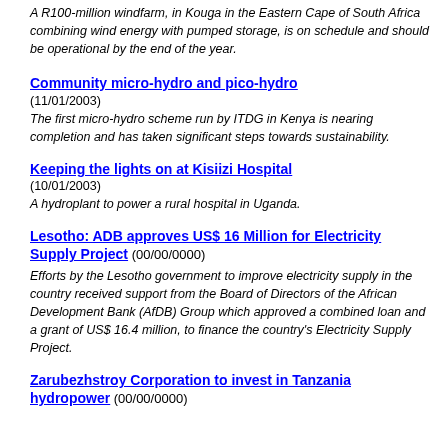A R100-million windfarm, in Kouga in the Eastern Cape of South Africa combining wind energy with pumped storage, is on schedule and should be operational by the end of the year.
Community micro-hydro and pico-hydro
(11/01/2003)
The first micro-hydro scheme run by ITDG in Kenya is nearing completion and has taken significant steps towards sustainability.
Keeping the lights on at Kisiizi Hospital
(10/01/2003)
A hydroplant to power a rural hospital in Uganda.
Lesotho: ADB approves US$ 16 Million for Electricity Supply Project (00/00/0000)
Efforts by the Lesotho government to improve electricity supply in the country received support from the Board of Directors of the African Development Bank (AfDB) Group which approved a combined loan and a grant of US$ 16.4 million, to finance the country's Electricity Supply Project.
Zarubezhstroy Corporation to invest in Tanzania hydropower (00/00/0000)